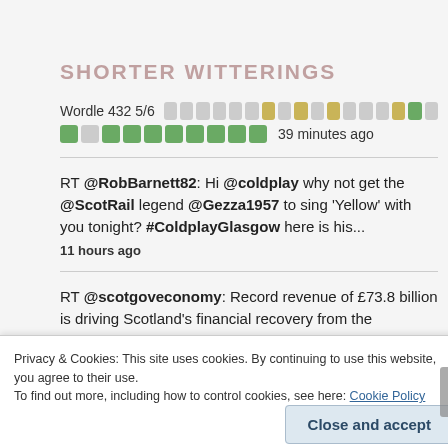SHORTER WITTERINGS
Wordle 432 5/6 [colored squares] 39 minutes ago
RT @RobBarnett82: Hi @coldplay why not get the @ScotRail legend @Gezza1957 to sing 'Yellow' with you tonight? #ColdplayGlasgow here is his...
11 hours ago
RT @scotgoveconomy: Record revenue of £73.8 billion is driving Scotland's financial recovery from the pandemic, according to the Government
Privacy & Cookies: This site uses cookies. By continuing to use this website, you agree to their use.
To find out more, including how to control cookies, see here: Cookie Policy
Close and accept